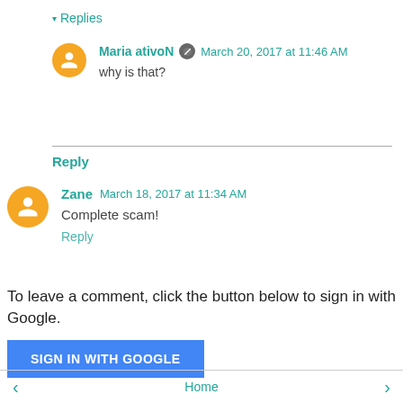▾ Replies
Maria ativoN  March 20, 2017 at 11:46 AM
why is that?
Reply
Zane  March 18, 2017 at 11:34 AM
Complete scam!
Reply
To leave a comment, click the button below to sign in with Google.
SIGN IN WITH GOOGLE
Home